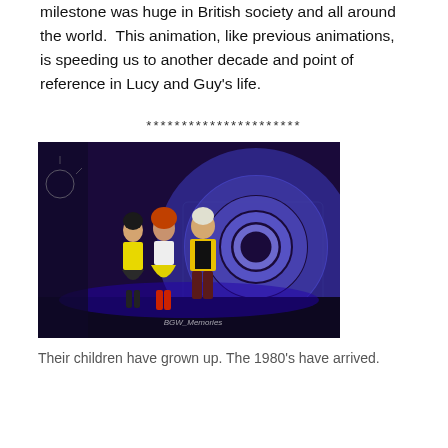milestone was huge in British society and all around the world.  This animation, like previous animations, is speeding us to another decade and point of reference in Lucy and Guy's life.
**********************
[Figure (photo): Three performers on a stage in front of a large blue spiral backdrop. Left: person in yellow top and dark skirt. Middle: person in white top and yellow skirt with red tights. Right: person in yellow jacket, black shirt, and dark trousers. Watermark reads 'BGW_Memories'.]
Their children have grown up. The 1980's have arrived.